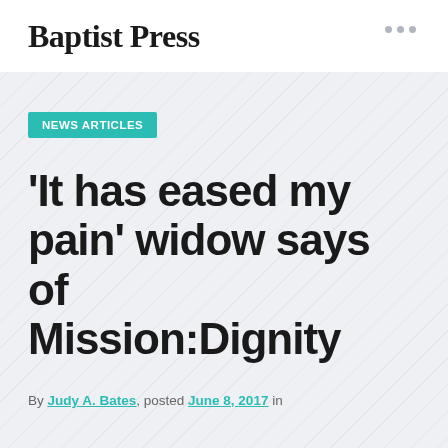Baptist Press
NEWS ARTICLES
'It has eased my pain' widow says of Mission:Dignity
By Judy A. Bates, posted June 8, 2017 in